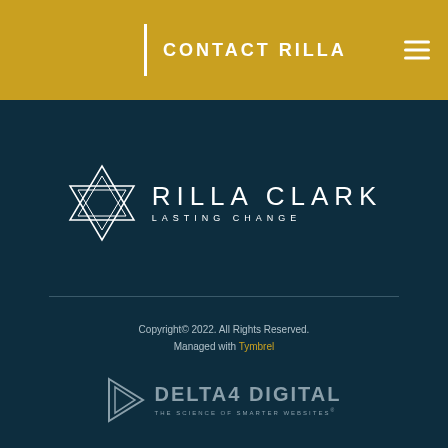CONTACT RILLA
[Figure (logo): Rilla Clark Lasting Change logo — geometric star/hexagram outline in white with text RILLA CLARK and LASTING CHANGE]
Copyright © 2022. All Rights Reserved. Managed with Tymbrel
[Figure (logo): Delta4 Digital logo — triangular play-button icon in muted teal with text DELTA4 DIGITAL and THE SCIENCE OF SMARTER WEBSITES]